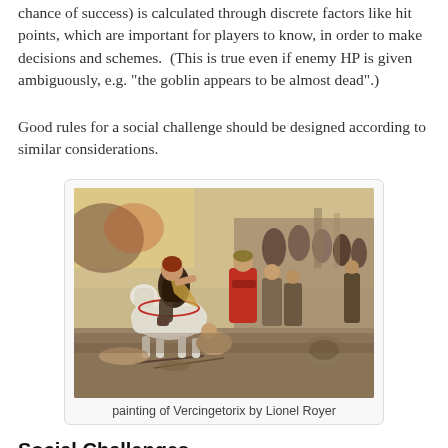chance of success) is calculated through discrete factors like hit points, which are important for players to know, in order to make decisions and schemes.  (This is true even if enemy HP is given ambiguously, e.g. "the goblin appears to be almost dead".)
Good rules for a social challenge should be designed according to similar considerations.
[Figure (photo): Painting of Vercingetorix by Lionel Royer — a historical scene showing a warrior on a white horse surrendering to Roman commanders, surrounded by soldiers and onlookers.]
painting of Vercingetorix by Lionel Royer
Social Challenges